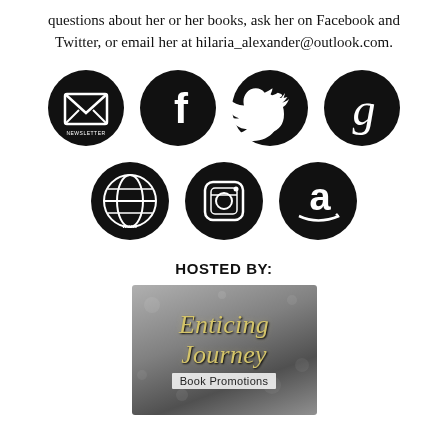questions about her or her books, ask her on Facebook and Twitter, or email her at hilaria_alexander@outlook.com.
[Figure (illustration): Row of four black circular social media icons: Newsletter (envelope), Facebook (f), Twitter (bird), Goodreads (g)]
[Figure (illustration): Row of three black circular icons: Website (www globe), Instagram (camera), Amazon (a with arrow)]
HOSTED BY:
[Figure (logo): Enticing Journey Book Promotions logo on grey bokeh background with gold italic script text 'Enticing Journey' and subtitle 'Book Promotions']